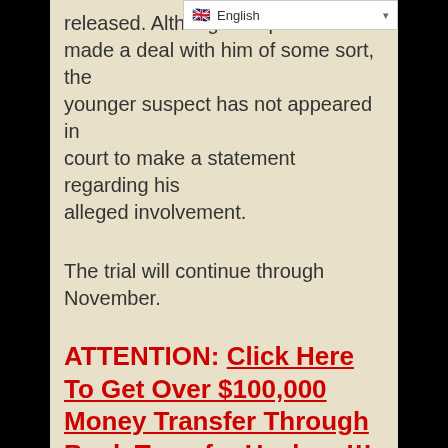[Figure (screenshot): Language selector bar showing UK flag and 'English' with dropdown arrow]
released. Although the p made a deal with him of some sort, the younger suspect has not appeared in court to make a statement regarding his alleged involvement.
The trial will continue through November.
ATTENTION: Click Here To Get Over $100,000 Money Transfer Through Bank Transfer Hackers!!! ATTENTION: Get Your Hacked Western Union